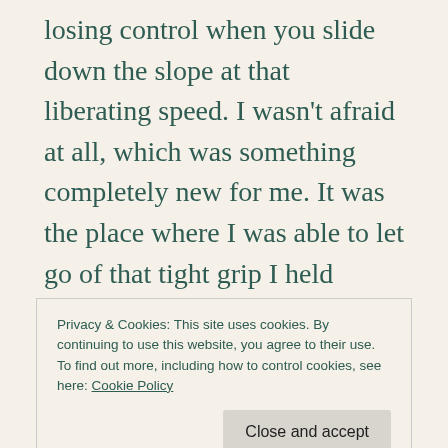losing control when you slide down the slope at that liberating speed. I wasn't afraid at all, which was something completely new for me. It was the place where I was able to let go of that tight grip I held myself in and be a little exuberant, doing swerves and cool turn-around stops. On the other hand, I always felt weird when we went swimming. I never liked the vulnerability of publicly uncovered skin, made worse by the horrible cold you feel when you
Privacy & Cookies: This site uses cookies. By continuing to use this website, you agree to their use.
To find out more, including how to control cookies, see here: Cookie Policy
never been afraid of water. The only thing that